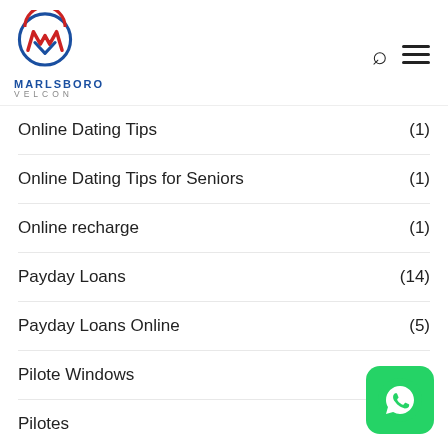[Figure (logo): Marlsboro Velcon logo with circular emblem in red and blue, text MARLSBORO in blue and VELCON in gray]
Online Dating Tips (1)
Online Dating Tips for Seniors (1)
Online recharge (1)
Payday Loans (14)
Payday Loans Online (5)
Pilote Windows (1)
Pilotes (1)
Play Rom Games
[Figure (logo): WhatsApp green button icon in bottom right corner]